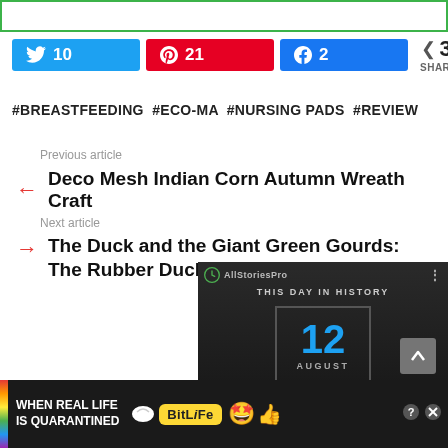[Figure (screenshot): Top green-bordered bar (partial UI element)]
[Figure (infographic): Social share buttons: Twitter 10, Pinterest 21, Facebook 2, total 33 shares]
#BREASTFEEDING #ECO-MA #NURSING PADS #REVIEW
Previous article
← Deco Mesh Indian Corn Autumn Wreath Craft
Next article
→ The Duck and the Giant Green Gourds: The Rubber Ducky Pro…
[Figure (screenshot): Video overlay: AllStoriesPro 'This Day In History' showing date 12 August with video controls]
Written b…
Heath… loves her… or's degr… ster's
[Figure (screenshot): Ad banner: BitLife 'When Real Life Is Quarantined' advertisement with rainbow bar and emoji]
[Figure (screenshot): Scroll-up button (grey arrow up)]